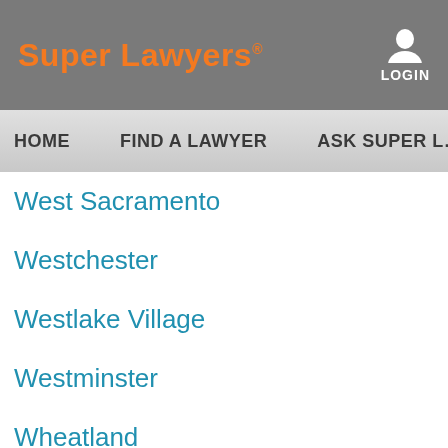Super Lawyers LOGIN
HOME  FIND A LAWYER  ASK SUPER L…
West Sacramento
Westchester
Westlake Village
Westminster
Wheatland
Whittier
Wildomar
Wilmington